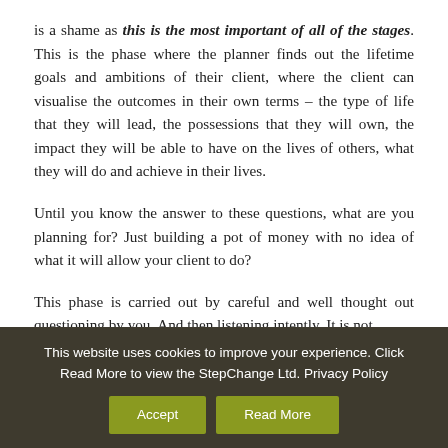is a shame as this is the most important of all of the stages. This is the phase where the planner finds out the lifetime goals and ambitions of their client, where the client can visualise the outcomes in their own terms – the type of life that they will lead, the possessions that they will own, the impact they will be able to have on the lives of others, what they will do and achieve in their lives.
Until you know the answer to these questions, what are you planning for? Just building a pot of money with no idea of what it will allow your client to do?
This phase is carried out by careful and well thought out questioning by you. And then listening intently. It is not
This website uses cookies to improve your experience. Click Read More to view the StepChange Ltd. Privacy Policy